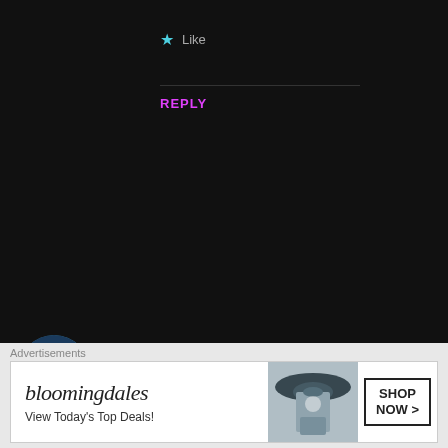★ Like
REPLY
kirindas
MARCH 6, 2020 AT 10:43 AM
Thanks for the new chapter!
★ Like
REPLY
[Figure (illustration): Bloomingdales advertisement banner with woman in hat. Text: bloomingdales, View Today's Top Deals!, SHOP NOW >]
Advertisements